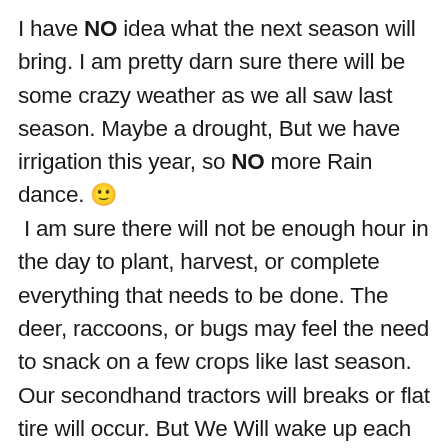I have NO idea what the next season will bring. I am pretty darn sure there will be some crazy weather as we all saw last season. Maybe a drought, But we have irrigation this year, so NO more Rain dance. 🙂 I am sure there will not be enough hour in the day to plant, harvest, or complete everything that needs to be done. The deer, raccoons, or bugs may feel the need to snack on a few crops like last season. Our secondhand tractors will breaks or flat tire will occur. But We Will wake up each morning in a place where we are safe, able to work, and able to provide for our family and for others.  We are blessed to be farmers in this world. I am certain each year will provide us with a new farming experience. We hope you are able to share all the seasons and share all